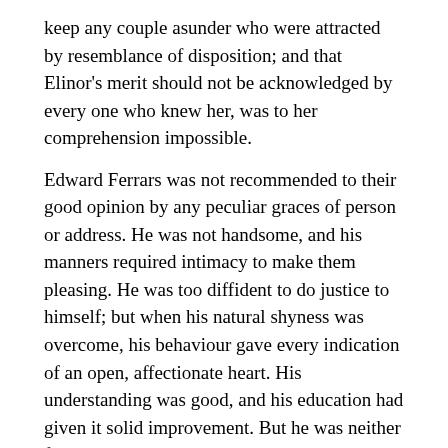keep any couple asunder who were attracted by resemblance of disposition; and that Elinor's merit should not be acknowledged by every one who knew her, was to her comprehension impossible.
Edward Ferrars was not recommended to their good opinion by any peculiar graces of person or address. He was not handsome, and his manners required intimacy to make them pleasing. He was too diffident to do justice to himself; but when his natural shyness was overcome, his behaviour gave every indication of an open, affectionate heart. His understanding was good, and his education had given it solid improvement. But he was neither fitted by abilities nor disposition to answer the wishes of his mother and sister, who longed to see him distinguished - as - they hardly knew what. They wanted him to make a fine figure in the world in some manner or other. His mother wished to interest him in political concerns, to get him into parliament, or to see him connected with some of the great men of the day. Mrs. John Dashwood wished it likewise; but in the mean while, till one of these superior blessings could be attained, it would have quieted her ambition to see him driving a barouche. But Edward had no turn for great men or barouches. All his wishes centered in domestic comfort and the quiet of private life. Fortunately he had a younger brother who was more promising.